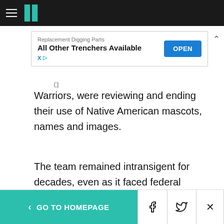HuffPost navigation bar with hamburger menu and logo
[Figure (screenshot): Advertisement banner: 'Replacement Digging Parts / All Other Trenchers Available' with OPEN button]
Warriors, were reviewing and ending their use of Native American mascots, names and images.
The team remained intransigent for decades, even as it faced federal lawsuits targeting its trademark protections. Twice, it lost such lawsuits, although one was overturned on appeal and a second was undermined by a Supreme Court decision in a similar dispute.
< GO TO HOMEPAGE [Facebook] [Twitter] [X]